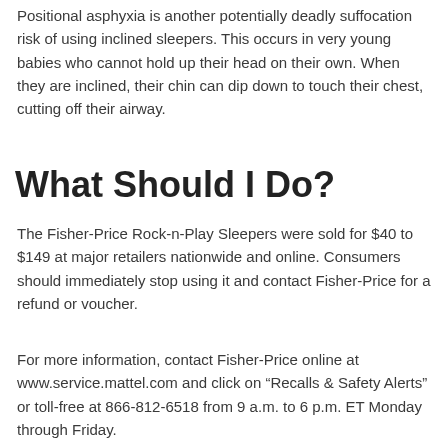Positional asphyxia is another potentially deadly suffocation risk of using inclined sleepers. This occurs in very young babies who cannot hold up their head on their own. When they are inclined, their chin can dip down to touch their chest, cutting off their airway.
What Should I Do?
The Fisher-Price Rock-n-Play Sleepers were sold for $40 to $149 at major retailers nationwide and online. Consumers should immediately stop using it and contact Fisher-Price for a refund or voucher.
For more information, contact Fisher-Price online at www.service.mattel.com and click on “Recalls & Safety Alerts” or toll-free at 866-812-6518 from 9 a.m. to 6 p.m. ET Monday through Friday.